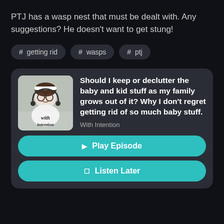PTJ has a wasp nest that must be dealt with. Any suggestions? He doesn't want to get stung!
# getting rid
# wasps
# ptj
[Figure (screenshot): Podcast episode card for 'With Intention' showing a smiling woman with headphones and the podcast logo text 'with intention']
Should I keep or declutter the baby and kid stuff as my family grows out of it? Why I don't regret getting rid of so much baby stuff.
With Intention
▶ Play Episode
🔖 Listen Later